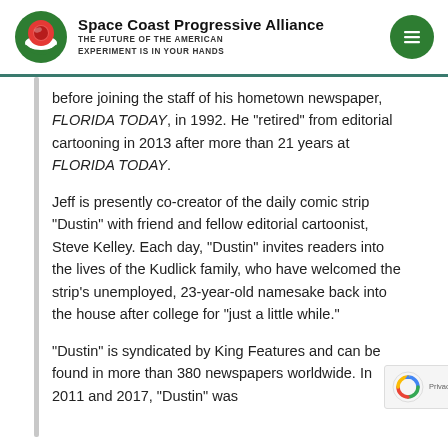Space Coast Progressive Alliance — THE FUTURE OF THE AMERICAN EXPERIMENT IS IN YOUR HANDS
before joining the staff of his hometown newspaper, FLORIDA TODAY, in 1992. He “retired” from editorial cartooning in 2013 after more than 21 years at FLORIDA TODAY.
Jeff is presently co-creator of the daily comic strip “Dustin” with friend and fellow editorial cartoonist, Steve Kelley. Each day, “Dustin” invites readers into the lives of the Kudlick family, who have welcomed the strip’s unemployed, 23-year-old namesake back into the house after college for “just a little while.”
“Dustin” is syndicated by King Features and can be found in more than 380 newspapers worldwide. In 2011 and 2017, “Dustin” was